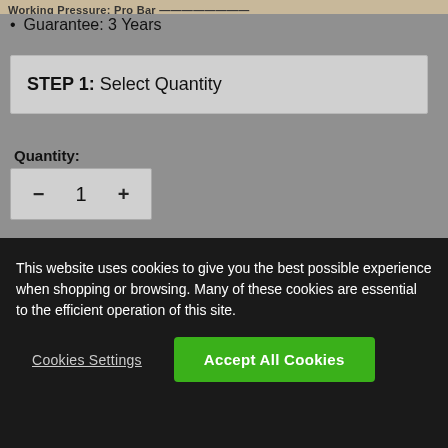Guarantee: 3 Years
STEP 1:  Select Quantity
Quantity:
[Figure (other): Quantity selector control showing minus button, value 1, and plus button]
STEP 2:  Check Availability
This website uses cookies to give you the best possible experience when shopping or browsing. Many of these cookies are essential to the efficient operation of this site.
Cookies Settings    Accept All Cookies